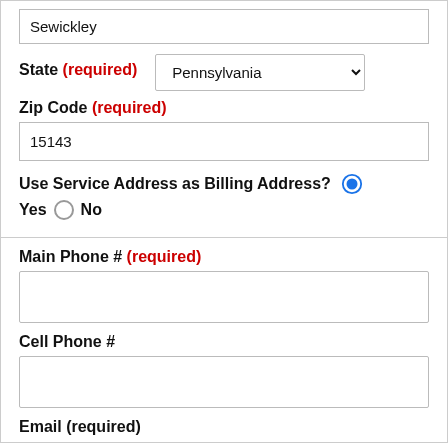Sewickley
State (required)
Pennsylvania
Zip Code (required)
15143
Use Service Address as Billing Address? Yes No
Main Phone # (required)
Cell Phone #
Email (required)